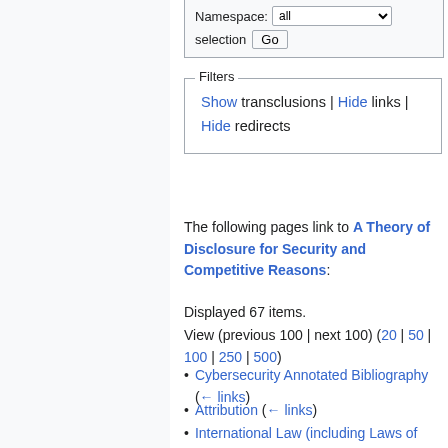Namespace: all   selection  Go
Filters
Show transclusions | Hide links | Hide redirects
The following pages link to A Theory of Disclosure for Security and Competitive Reasons:
Displayed 67 items.
View (previous 100 | next 100) (20 | 50 | 100 | 250 | 500)
Cybersecurity Annotated Bibliography  (← links)
Attribution  (← links)
International Law (including Laws of War)  (← links)